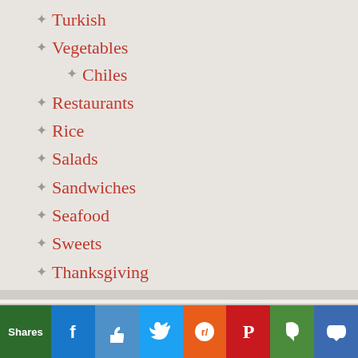Turkish
Vegetables
Chiles
Restaurants
Rice
Salads
Sandwiches
Seafood
Sweets
Thanksgiving
Travel
Vegetables
Videos
Zesterdaily
Shares | Facebook | Like | Twitter | Reddit | Pinterest | Evernote | Crown